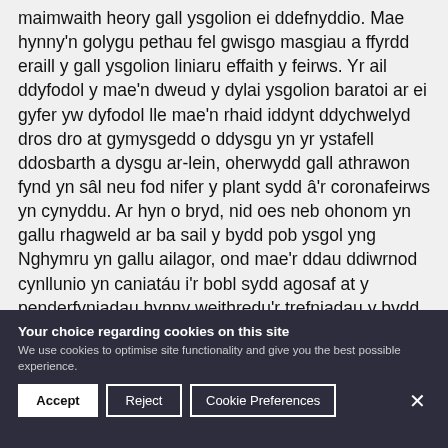maimwaith heny gall ysgolion ei ddefnyddio. Mae hynny'n golygu pethau fel gwisgo masgiau a ffyrdd eraill y gall ysgolion liniaru effaith y feirws. Yr ail ddyfodol y mae'n dweud y dylai ysgolion baratoi ar ei gyfer yw dyfodol lle mae'n rhaid iddynt ddychwelyd dros dro at gymysgedd o ddysgu yn yr ystafell ddosbarth a dysgu ar-lein, oherwydd gall athrawon fynd yn sâl neu fod nifer y plant sydd â'r coronafeirws yn cynyddu. Ar hyn o bryd, nid oes neb ohonom yn gallu rhagweld ar ba sail y bydd pob ysgol yng Nghymru yn gallu ailagor, ond mae'r ddau ddiwrnod cynllunio yn caniatáu i'r bobl sydd agosaf at y penderfyniadau hynny weithredu'r trefniadau y bydd eu hangen arnynt ar gyfer y naill
Your choice regarding cookies on this site
We use cookies to optimise site functionality and give you the best possible experience.